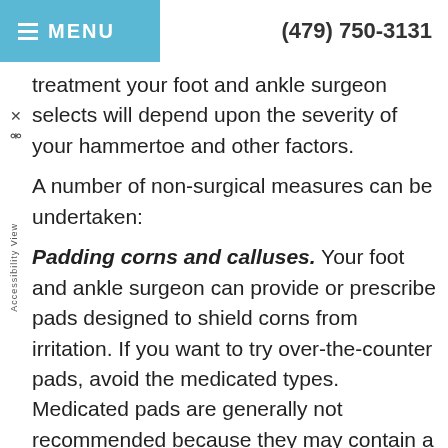MENU   (479) 750-3131
treatment your foot and ankle surgeon selects will depend upon the severity of your hammertoe and other factors.
A number of non-surgical measures can be undertaken:
Padding corns and calluses. Your foot and ankle surgeon can provide or prescribe pads designed to shield corns from irritation. If you want to try over-the-counter pads, avoid the medicated types. Medicated pads are generally not recommended because they may contain a small amount of acid that can be harmful. Consult your surgeon about this option.
Changes in shoewear. Avoid shoes with pointed toes, shoes that are too short, or shoes with high heels – conditions that can force your toe against the front of